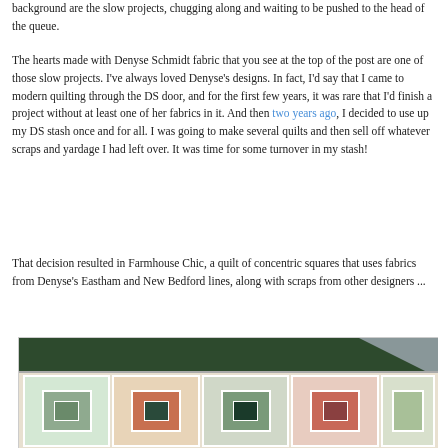background are the slow projects, chugging along and waiting to be pushed to the head of the queue.
The hearts made with Denyse Schmidt fabric that you see at the top of the post are one of those slow projects. I've always loved Denyse's designs. In fact, I'd say that I came to modern quilting through the DS door, and for the first few years, it was rare that I'd finish a project without at least one of her fabrics in it. And then two years ago, I decided to use up my DS stash once and for all. I was going to make several quilts and then sell off whatever scraps and yardage I had left over. It was time for some turnover in my stash!
That decision resulted in Farmhouse Chic, a quilt of concentric squares that uses fabrics from Denyse's Eastham and New Bedford lines, along with scraps from other designers ...
[Figure (photo): A quilt with concentric square blocks in green, orange, red, and white patterned fabrics displayed outdoors against dark evergreen branches.]